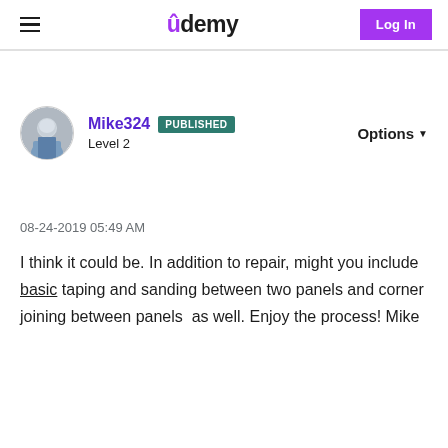Udemy — Log In
Mike324 PUBLISHED Level 2 Options
08-24-2019 05:49 AM
I think it could be. In addition to repair, might you include basic taping and sanding between two panels and corner joining between panels  as well. Enjoy the process! Mike